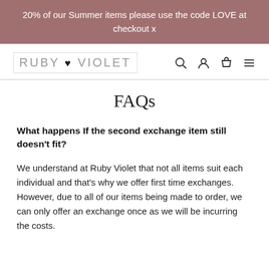20% of our Summer items please use the code LOVE at checkout x
[Figure (logo): Ruby Violet brand logo with dotted border and heart symbol]
FAQs
What happens If the second exchange item still doesn't fit?
We understand at Ruby Violet that not all items suit each individual and that's why we offer first time exchanges. However, due to all of our items being made to order, we can only offer an exchange once as we will be incurring the costs.